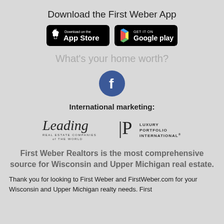Download the First Weber App
[Figure (logo): App Store download button (black background with Apple logo)]
[Figure (logo): Google Play download button (black background with Play logo)]
What's your home worth?
[Figure (logo): Facebook circular icon (blue circle with white f)]
International marketing:
[Figure (logo): Leading Real Estate Companies of the World logo]
[Figure (logo): Luxury Portfolio International logo]
First Weber Realtors is the most comprehensive source for Wisconsin and Upper Michigan real estate.
Thank you for looking to First Weber and FirstWeber.com for your Wisconsin and Upper Michigan realty needs. First